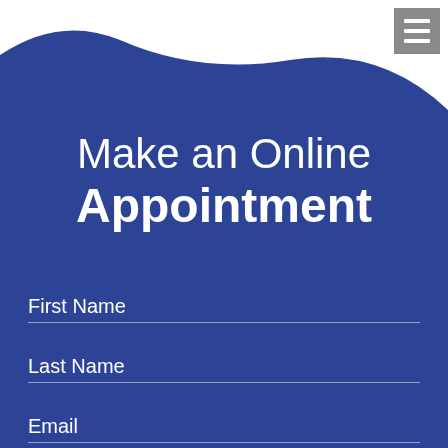[Figure (illustration): White wave shape at the top of a dark blue background, with a grey hamburger menu icon in the top right corner]
Make an Online Appointment
First Name
Last Name
Email